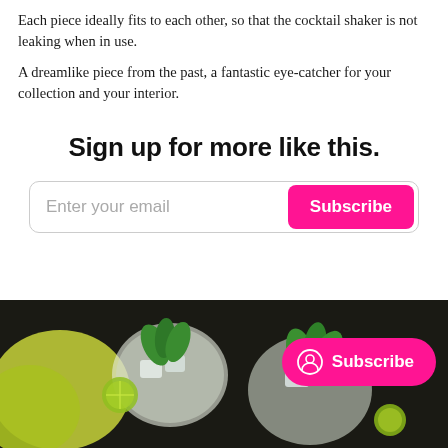Each piece ideally fits to each other, so that the cocktail shaker is not leaking when in use.
A dreamlike piece from the past, a fantastic eye-catcher for your collection and your interior.
Sign up for more like this.
Enter your email  [Subscribe button]
[Figure (photo): Photo of cocktail glasses with mint leaves and lime on a dark background, with a pink Subscribe pill button overlay]